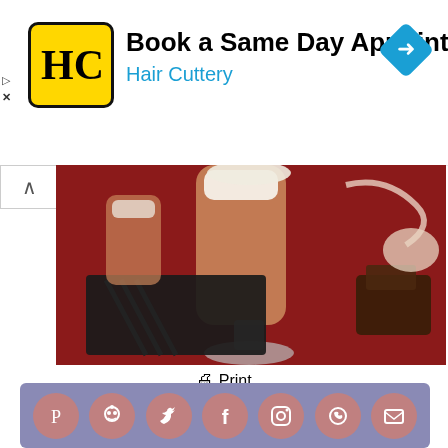[Figure (other): Hair Cuttery advertisement banner: yellow logo with HC letters, 'Book a Same Day Appointment' headline, 'Hair Cuttery' subtitle in blue, blue navigation diamond icon on right]
[Figure (photo): Chocolate latte or mocha drink in a tall glass on a black slate board, red background, chocolate pieces visible]
Print
5 from 6 votes
[Figure (logo): SunCakeMom logo: woman in red dress with long black hair holding a cake with sun decoration, SunCakeMom text with decorative font]
[Figure (infographic): Social media sharing bar with 7 circular icons on purple/mauve background: Pinterest, Reddit, Twitter, Facebook, Instagram, WhatsApp, Email]